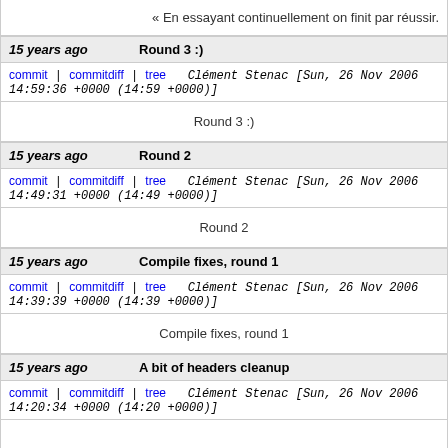« En essayant continuellement on finit par réussir.
15 years ago   Round 3 :)
commit | commitdiff | tree   Clément Stenac [Sun, 26 Nov 2006 14:59:36 +0000 (14:59 +0000)]
Round 3 :)
15 years ago   Round 2
commit | commitdiff | tree   Clément Stenac [Sun, 26 Nov 2006 14:49:31 +0000 (14:49 +0000)]
Round 2
15 years ago   Compile fixes, round 1
commit | commitdiff | tree   Clément Stenac [Sun, 26 Nov 2006 14:39:39 +0000 (14:39 +0000)]
Compile fixes, round 1
15 years ago   A bit of headers cleanup
commit | commitdiff | tree   Clément Stenac [Sun, 26 Nov 2006 14:20:34 +0000 (14:20 +0000)]